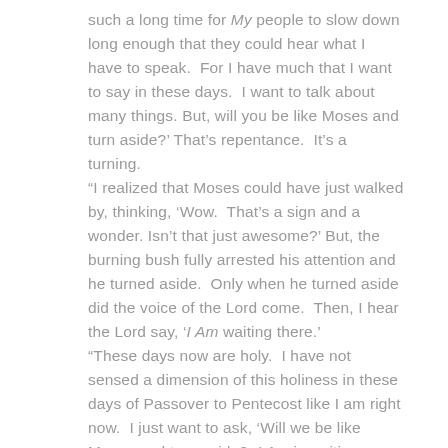such a long time for My people to slow down long enough that they could hear what I have to speak. For I have much that I want to say in these days. I want to talk about many things. But, will you be like Moses and turn aside?' That's repentance. It's a turning. "I realized that Moses could have just walked by, thinking, 'Wow. That's a sign and a wonder. Isn't that just awesome?' But, the burning bush fully arrested his attention and he turned aside. Only when he turned aside did the voice of the Lord come. Then, I hear the Lord say, 'I Am waiting there.' "These days now are holy. I have not sensed a dimension of this holiness in these days of Passover to Pentecost like I am right now. I just want to ask, 'Will we be like Moses and turn aside? I Am is waiting there.'" "But as for me, I will look to the Lord; I will wait